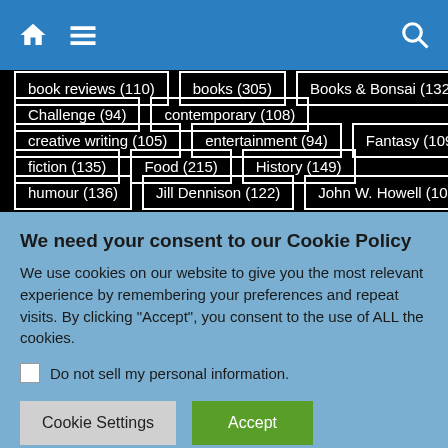[Figure (screenshot): Navigation bar with home icon, hamburger menu icon on left and search icon on right, blue background]
book reviews (110)
books (305)
Books & Bonsai (132)
Challenge (94)
contemporary (108)
creative writing (105)
entertainment (94)
Fantasy (109)
fiction (135)
Food (215)
History (149)
humour (136)
Jill Dennison (122)
John W. Howell (100)
We need your consent to our Cookie Policy
We use cookies on our website to give you the most relevant experience by remembering your preferences and repeat visits. By clicking “Accept”, you consent to the use of ALL the cookies.
Do not sell my personal information.
Cookie Settings
Accept